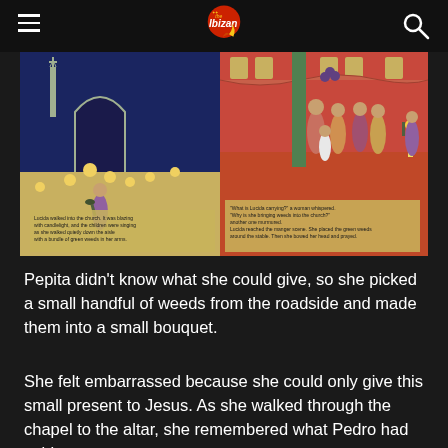The Ibizan
[Figure (illustration): Book illustration showing two scenes: left scene depicts a child walking into a candlelit church holding green weeds, right scene shows a group of people in a church interior. Text captions from the book appear at the bottom of the illustration.]
Pepita didn't know what she could give, so she picked a small handful of weeds from the roadside and made them into a small bouquet.
She felt embarrassed because she could only give this small present to Jesus. As she walked through the chapel to the altar, she remembered what Pedro had said.